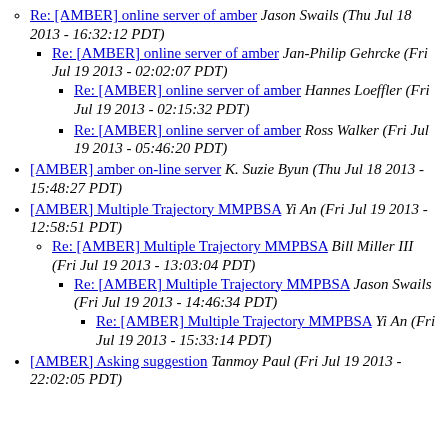Re: [AMBER] online server of amber Jason Swails (Thu Jul 18 2013 - 16:32:12 PDT)
Re: [AMBER] online server of amber Jan-Philip Gehrcke (Fri Jul 19 2013 - 02:02:07 PDT)
Re: [AMBER] online server of amber Hannes Loeffler (Fri Jul 19 2013 - 02:15:32 PDT)
Re: [AMBER] online server of amber Ross Walker (Fri Jul 19 2013 - 05:46:20 PDT)
[AMBER] amber on-line server K. Suzie Byun (Thu Jul 18 2013 - 15:48:27 PDT)
[AMBER] Multiple Trajectory MMPBSA Yi An (Fri Jul 19 2013 - 12:58:51 PDT)
Re: [AMBER] Multiple Trajectory MMPBSA Bill Miller III (Fri Jul 19 2013 - 13:03:04 PDT)
Re: [AMBER] Multiple Trajectory MMPBSA Jason Swails (Fri Jul 19 2013 - 14:46:34 PDT)
Re: [AMBER] Multiple Trajectory MMPBSA Yi An (Fri Jul 19 2013 - 15:33:14 PDT)
[AMBER] Asking suggestion Tanmoy Paul (Fri Jul 19 2013 - 22:02:05 PDT)